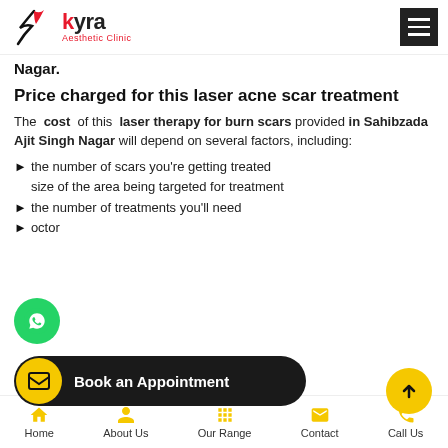Kyra Aesthetic Clinic
Nagar.
Price charged for this laser acne scar treatment
The cost of this laser therapy for burn scars provided in Sahibzada Ajit Singh Nagar will depend on several factors, including:
the number of scars you're getting treated
size of the area being targeted for treatment
the number of treatments you'll need
octor
[Figure (other): WhatsApp floating button (green circle with phone/chat icon)]
[Figure (other): Book an Appointment dark rounded button with yellow mail icon]
[Figure (other): Scroll up yellow circle button with up arrow]
This treatment doesn't require recovery time. You
Home | About Us | Our Range | Contact | Call Us